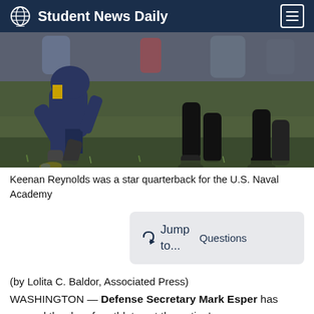Student News Daily
[Figure (photo): Football players on a grass field; a player in navy and gold uniform (U.S. Naval Academy) in a running stance with yellow cleats, with other players' legs visible in background]
Keenan Reynolds was a star quarterback for the U.S. Naval Academy
[Figure (infographic): Jump to... Questions button box]
(by Lolita C. Baldor, Associated Press)
WASHINGTON — Defense Secretary Mark Esper has opened the door for athletes at the nation's